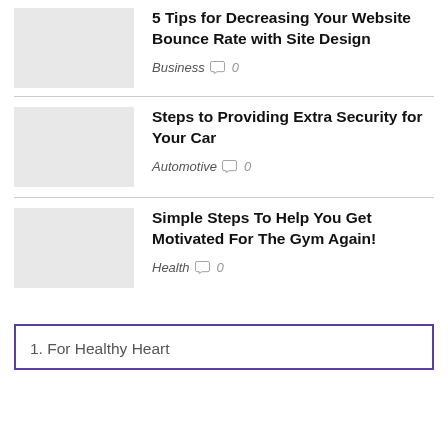5 Tips for Decreasing Your Website Bounce Rate with Site Design — Business  0
Steps to Providing Extra Security for Your Car — Automotive  0
Simple Steps To Help You Get Motivated For The Gym Again! — Health  0
1. For Healthy Heart